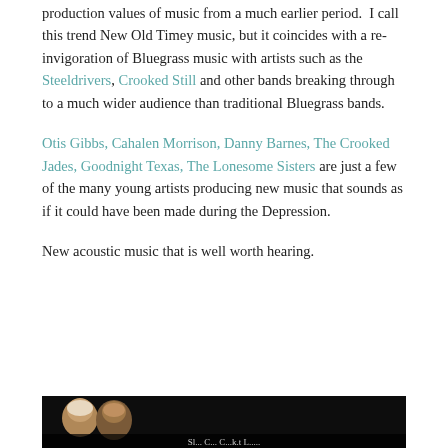production values of music from a much earlier period.  I call this trend New Old Timey music, but it coincides with a re-invigoration of Bluegrass music with artists such as the Steeldrivers, Crooked Still and other bands breaking through to a much wider audience than traditional Bluegrass bands.
Otis Gibbs, Cahalen Morrison, Danny Barnes, The Crooked Jades, Goodnight Texas, The Lonesome Sisters are just a few of the many young artists producing new music that sounds as if it could have been made during the Depression.
New acoustic music that is well worth hearing.
[Figure (photo): A dark photo strip at the bottom of the page showing people, partially cropped, with a caption below partially visible.]